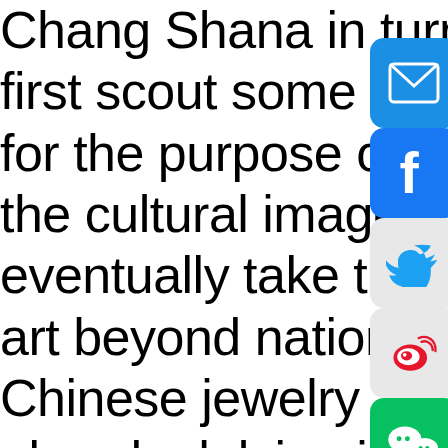Chang Shana in turn hopes to first scout some premium Chinese cultural products for the purpose of cooperation to enhance the cultural image of Chinese art, eventually take traditional Chinese art beyond national borders, bring Chinese jewelry and cosmetic art already delving into the growing trend of creating experimental designs inspired by ancient art is ready for a new...
[Figure (infographic): Social media share icons on the right side: Email (blue envelope), Facebook (blue f), Twitter (blue bird), Weibo (red icon), WeChat (green icon), and a small broken image icon]